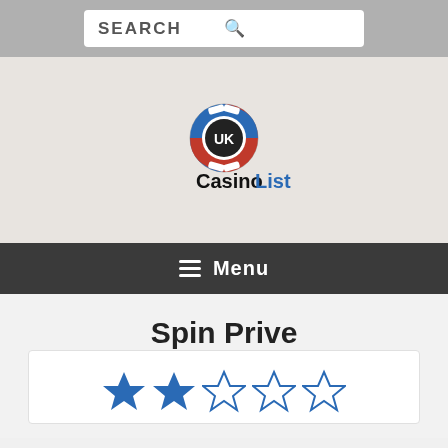SEARCH
[Figure (logo): UK Casino List logo with a casino chip icon above the text CasinoList]
Menu
Spin Prive
[Figure (other): Star rating showing 2 out of 5 filled blue stars]